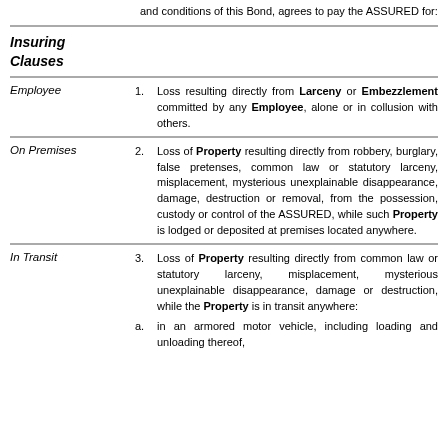and conditions of this Bond, agrees to pay the ASSURED for:
Insuring Clauses
Employee — 1. Loss resulting directly from Larceny or Embezzlement committed by any Employee, alone or in collusion with others.
On Premises — 2. Loss of Property resulting directly from robbery, burglary, false pretenses, common law or statutory larceny, misplacement, mysterious unexplainable disappearance, damage, destruction or removal, from the possession, custody or control of the ASSURED, while such Property is lodged or deposited at premises located anywhere.
In Transit — 3. Loss of Property resulting directly from common law or statutory larceny, misplacement, mysterious unexplainable disappearance, damage or destruction, while the Property is in transit anywhere:
a. in an armored motor vehicle, including loading and unloading thereof,